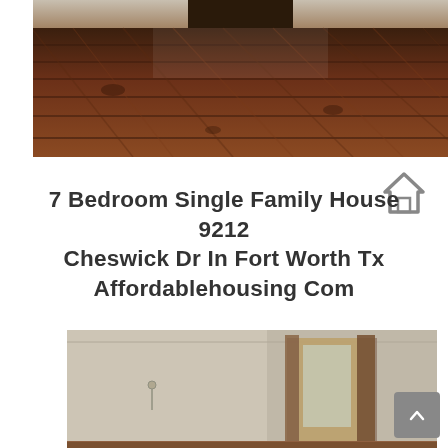[Figure (photo): Interior photo of a room with dark walnut wood plank flooring, perspective view showing the floor extending toward a doorway in the background]
7 Bedroom Single Family House 9212 Cheswick Dr In Fort Worth Tx Affordablehousing Com
[Figure (photo): Interior photo of a room with white walls, showing a hallway with a door and wooden door frame, and a window or mirror reflecting light]